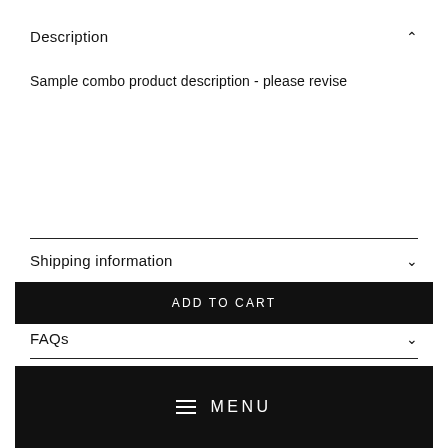Description
Sample combo product description - please revise
Shipping information
ADD TO CART
FAQs
MENU